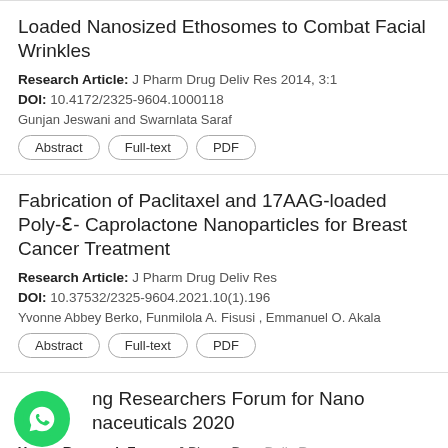Loaded Nanosized Ethosomes to Combat Facial Wrinkles
Research Article: J Pharm Drug Deliv Res 2014, 3:1
DOI: 10.4172/2325-9604.1000118
Gunjan Jeswani and Swarnlata Saraf
Abstract | Full-text | PDF
Fabrication of Paclitaxel and 17AAG-loaded Poly-Ɛ- Caprolactone Nanoparticles for Breast Cancer Treatment
Research Article: J Pharm Drug Deliv Res
DOI: 10.37532/2325-9604.2021.10(1).196
Yvonne Abbey Berko, Funmilola A. Fisusi , Emmanuel O. Akala
Abstract | Full-text | PDF
ng Researchers Forum for Nano naceuticals 2020
Young Research Forum: J Pharm Drug Deliv Res
DOI: